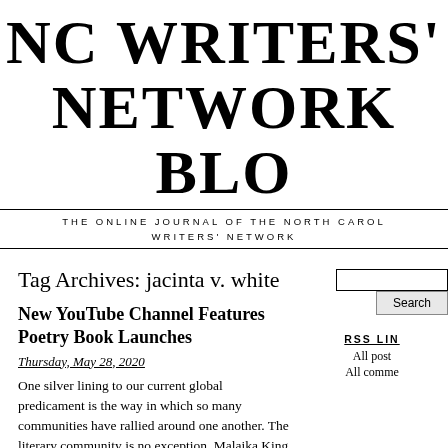NC WRITERS' NETWORK BLOG
THE ONLINE JOURNAL OF THE NORTH CAROLINA WRITERS' NETWORK
Tag Archives: jacinta v. white
New YouTube Channel Features Poetry Book Launches
Thursday, May 28, 2020
One silver lining to our current global predicament is the way in which so many communities have rallied around one another. The literary community is no exception. Malaika King Albrecht, a poet and
RSS LINKS
All posts
All comments